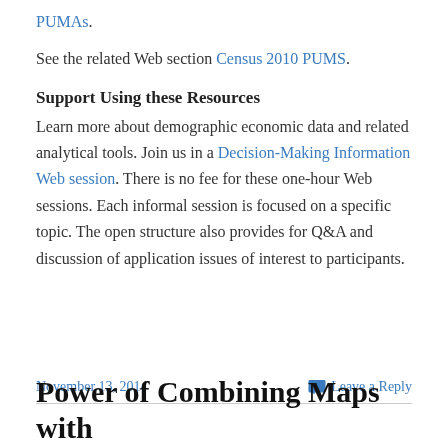PUMAs.
See the related Web section Census 2010 PUMS.
Support Using these Resources
Learn more about demographic economic data and related analytical tools. Join us in a Decision-Making Information Web session. There is no fee for these one-hour Web sessions. Each informal session is focused on a specific topic. The open structure also provides for Q&A and discussion of application issues of interest to participants.
November 13, 2014
Leave a Reply
Power of Combining Maps with